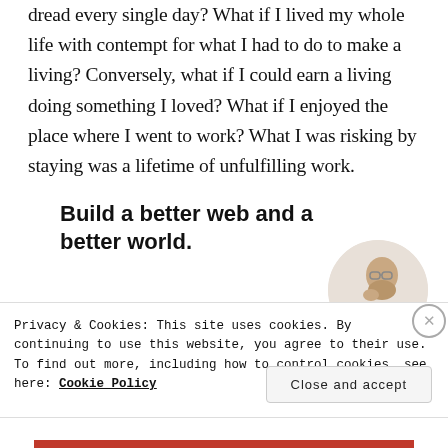dread every single day? What if I lived my whole life with contempt for what I had to do to make a living? Conversely, what if I could earn a living doing something I loved? What if I enjoyed the place where I went to work? What I was risking by staying was a lifetime of unfulfilling work.
[Figure (infographic): Advertisement banner: 'Build a better web and a better world.' with a blue Apply button and a circular photo of a man thinking]
Privacy & Cookies: This site uses cookies. By continuing to use this website, you agree to their use.
To find out more, including how to control cookies, see here: Cookie Policy
Close and accept